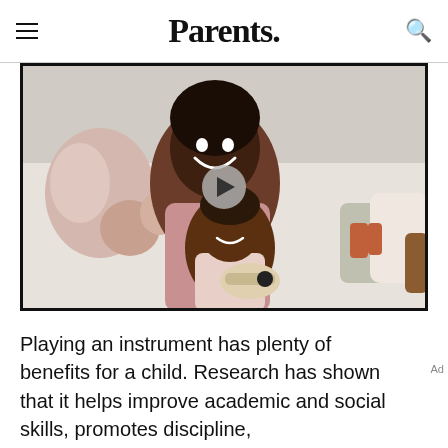Parents.
[Figure (photo): A smiling Black woman hugging a young boy on a couch surrounded by stuffed animals and toys. A video play button overlay is centered on the image.]
Playing an instrument has plenty of benefits for a child. Research has shown that it helps improve academic and social skills, promotes discipline,